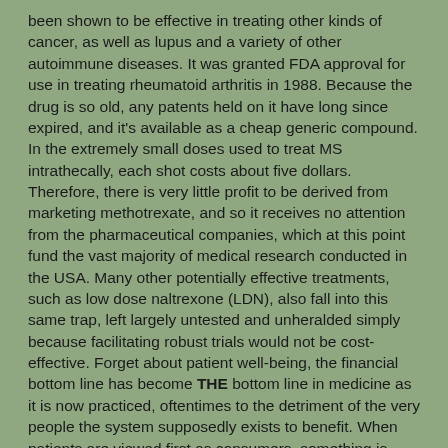been shown to be effective in treating other kinds of cancer, as well as lupus and a variety of other autoimmune diseases. It was granted FDA approval for use in treating rheumatoid arthritis in 1988. Because the drug is so old, any patents held on it have long since expired, and it's available as a cheap generic compound. In the extremely small doses used to treat MS intrathecally, each shot costs about five dollars. Therefore, there is very little profit to be derived from marketing methotrexate, and so it receives no attention from the pharmaceutical companies, which at this point fund the vast majority of medical research conducted in the USA. Many other potentially effective treatments, such as low dose naltrexone (LDN), also fall into this same trap, left largely untested and unheralded simply because facilitating robust trials would not be cost-effective. Forget about patient well-being, the financial bottom line has become THE bottom line in medicine as it is now practiced, oftentimes to the detriment of the very people the system supposedly exists to benefit. When patients are viewed first as consumers, something is very wrong.
Based on what I know about this treatment, I'd suggest that